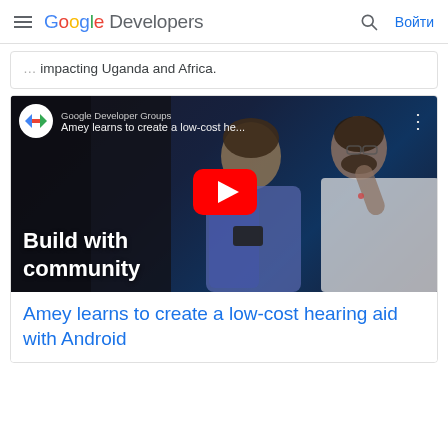Google Developers — Search — Войти
impacting Uganda and Africa.
[Figure (screenshot): YouTube video thumbnail showing two people working on electronics. Title overlay reads 'Build with community'. Video title bar shows 'Google Developer Groups' channel and 'Amey learns to create a low-cost he...' with a red YouTube play button in the center.]
Amey learns to create a low-cost hearing aid with Android